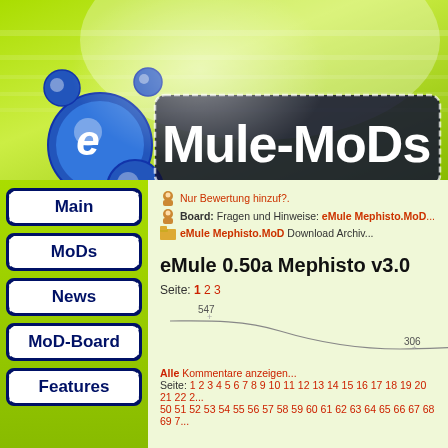[Figure (logo): eMule-MoDs website logo on green gradient background with blue 3D eMule logo and stylized white/dark blue text 'eMule-MoDs']
Nur Bewertung hinzuf?.
Board: Fragen und Hinweise: eMule Mephisto.MoD...
eMule Mephisto.MoD Download Archiv...
eMule 0.50a Mephisto v3.0
Seite: 1 2 3
[Figure (continuous-plot): Rating/download count line chart showing values 547 and 306 marked on a declining curve]
Alle Kommentare anzeigen...
Seite: 1 2 3 4 5 6 7 8 9 10 11 12 13 14 15 16 17 18 19 20 21 22 ... 50 51 52 53 54 55 56 57 58 59 60 61 62 63 64 65 66 67 68 69 7...